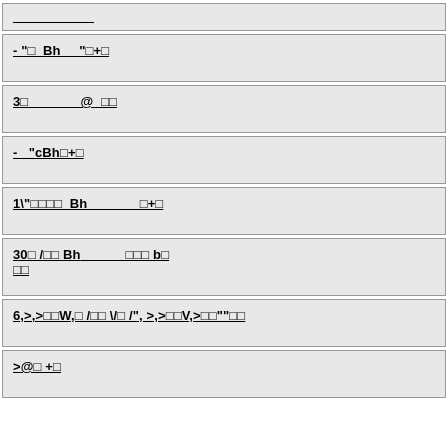___________
- "□ Bh _"□+□
3□         _@ □□
- "cBh□+□
1\"□□□□ Bh          _□+□
30□/□□ Bh          □□□b□ □□
6,>,>□□W,□/□□\/□/",>,>□□V,>□□""□□
>@□+□